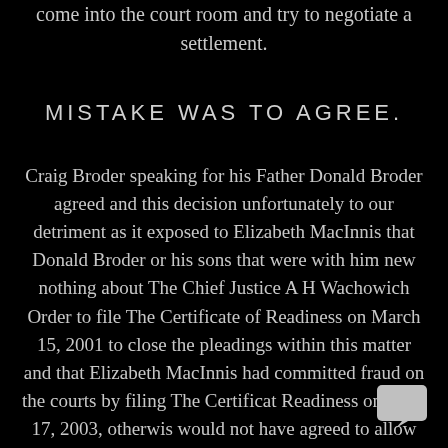come into the court room and try to negotiate a settlement.
MISTAKE WAS TO AGREE.
Craig Broder speaking for his Father Donald Broder agreed and this decision unfortunately to our detriment as it exposed to Elizabeth MacInnis that Donald Broder or his sons that were with him new nothing about The Chief Justice A H Wachowich Order to file The Certificate of Readiness on March 15, 2001 to close the pleadings within this matter and that Elizabeth MacInnis had committed fraud on the courts by filing The Certificate of Readiness on April 17, 2003, otherwise would not have agreed to allow Justice